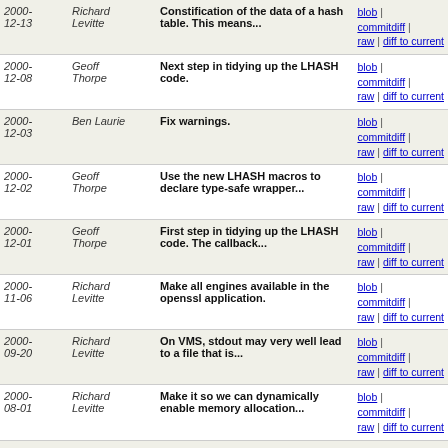| Date | Author | Message | Links |
| --- | --- | --- | --- |
| 2000-12-13 | Richard Levitte | Constification of the data of a hash table. This means... | blob | commitdiff | raw | diff to current |
| 2000-12-08 | Geoff Thorpe | Next step in tidying up the LHASH code. | blob | commitdiff | raw | diff to current |
| 2000-12-03 | Ben Laurie | Fix warnings. | blob | commitdiff | raw | diff to current |
| 2000-12-02 | Geoff Thorpe | Use the new LHASH macros to declare type-safe wrapper... | blob | commitdiff | raw | diff to current |
| 2000-12-01 | Geoff Thorpe | First step in tidying up the LHASH code. The callback... | blob | commitdiff | raw | diff to current |
| 2000-11-06 | Richard Levitte | Make all engines available in the openssl application. | blob | commitdiff | raw | diff to current |
| 2000-09-20 | Richard Levitte | On VMS, stdout may very well lead to a file that is... | blob | commitdiff | raw | diff to current |
| 2000-08-01 | Richard Levitte | Make it so we can dynamically enable memory allocation... | blob | commitdiff | raw | diff to current |
| 2000-06-01 | Richard Levitte | There have been a number of complaints from a number... | blob | commitdiff | raw | diff to current |
| 2000-03-18 | Bodo Möller | Eliminate memory leaks in mem_dbg.c. | blob | commitdiff | raw | diff to |